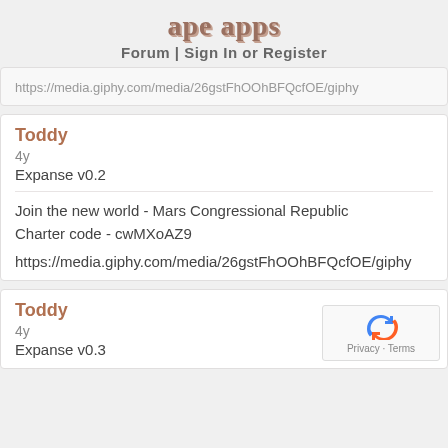ape apps
Forum | Sign In or Register
https://media.giphy.com/media/26gstFhOOhBFQcfOE/giphy...
Toddy
4y
Expanse v0.2
Join the new world - Mars Congressional Republic
Charter code - cwMXoAZ9
https://media.giphy.com/media/26gstFhOOhBFQcfOE/giphy
Toddy
4y
Expanse v0.3